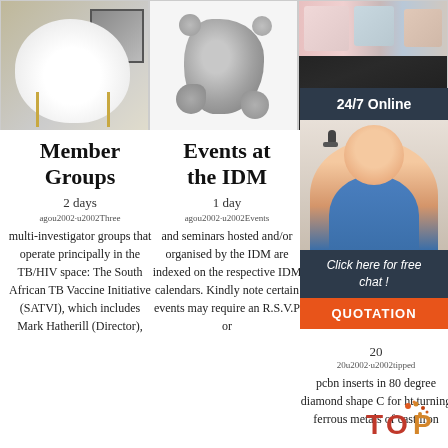[Figure (photo): Three product images in a row: white fluffy sheepskin chair cover on a gold wire chair, a grey fluffy sheepskin rug, and decorative pillows on a dark sofa]
[Figure (photo): 24/7 Online support overlay with a female customer service agent wearing a headset, with 'Click here for free chat!' and 'QUOTATION' button]
Member Groups
2 days agou2002·u2002Three multi-investigator groups that operate principally in the TB/HIV space: The South African TB Vaccine Initiative (SATVI), which includes Mark Hatherill (Director),
Events at the IDM
1 day agou2002·u2002Events and seminars hosted and/or organised by the IDM are indexed on the respective IDM calendars. Kindly note certain events may require an R.S.V.P or
tipped ins 80 dia sha
20u2002·u2002tipped pcbn inserts in 80 degree diamond shape C for ht turning ferrous metals of cast iron